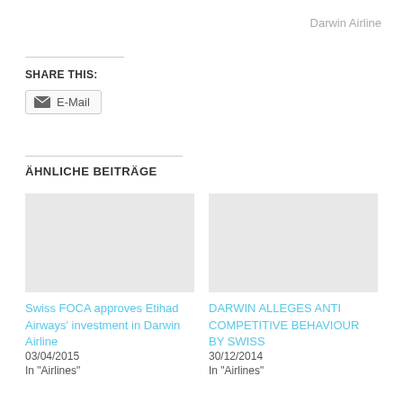Darwin Airline
SHARE THIS:
E-Mail
ÄHNLICHE BEITRÄGE
Swiss FOCA approves Etihad Airways' investment in Darwin Airline
03/04/2015
In "Airlines"
DARWIN ALLEGES ANTI COMPETITIVE BEHAVIOUR BY SWISS
30/12/2014
In "Airlines"